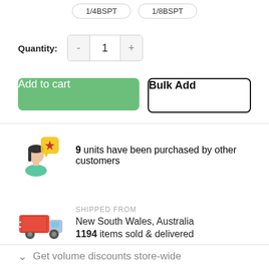1/4BSPT  1/8BSPT
Quantity: 1
Add to cart
Bulk Add
9 units have been purchased by other customers
SHIPPED FROM
New South Wales, Australia
1194 items sold & delivered
Get volume discounts store-wide